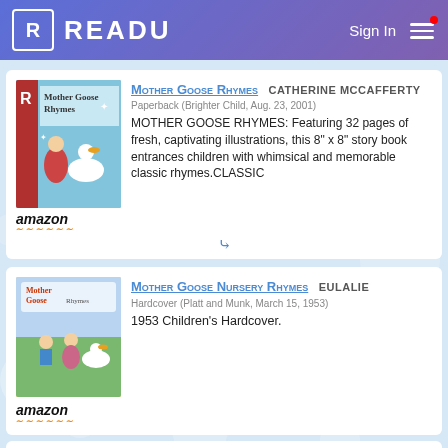READU  Sign In
[Figure (screenshot): Book cover for Mother Goose Rhymes with illustration of a goose and woman]
Mother Goose Rhymes  CATHERINE MCCAFFERTY
Paperback (Brighter Child, Aug. 23, 2001)
MOTHER GOOSE RHYMES: Featuring 32 pages of fresh, captivating illustrations, this 8" x 8" story book entrances children with whimsical and memorable classic rhymes.CLASSIC
[Figure (screenshot): Book cover for Mother Goose Nursery Rhymes with illustration of children and goose]
Mother Goose Nursery Rhymes  EULALIE
Hardcover (Platt and Munk, March 15, 1953)
1953 Children's Hardcover.
Mother Goose: Nursery Rhymes  JR.